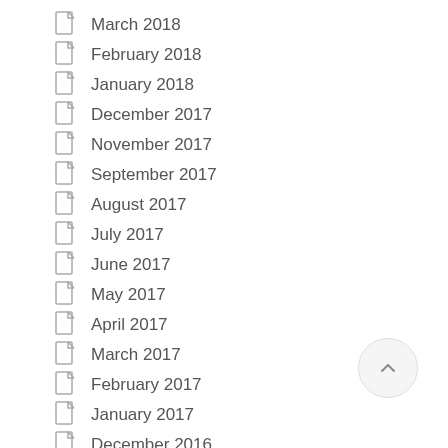March 2018
February 2018
January 2018
December 2017
November 2017
September 2017
August 2017
July 2017
June 2017
May 2017
April 2017
March 2017
February 2017
January 2017
December 2016